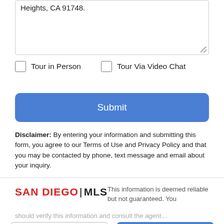Heights, CA 91748.
Tour in Person   Tour Via Video Chat
Submit
Disclaimer: By entering your information and submitting this form, you agree to our Terms of Use and Privacy Policy and that you may be contacted by phone, text message and email about your inquiry.
[Figure (logo): SAN DIEGO | MLS logo in red and black text]
This information is deemed reliable but not guaranteed. You
Take a Tour
Ask A Question